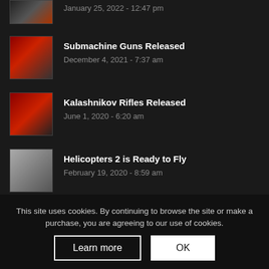January 25, 2022 - 12:47 pm
Submachine Guns Released
December 4, 2021 - 7:37 am
Kalashnikov Rifles Released
June 1, 2020 - 6:20 am
Helicopters 2 is Ready to Fly
February 19, 2020 - 8:59 am
Thunderstorm 4 HD Pro Released
December 10, 2019 - 4:41 pm
NEWSLETTER
This site uses cookies. By continuing to browse the site or make a purchase, you are agreeing to our use of cookies.
Learn more
OK